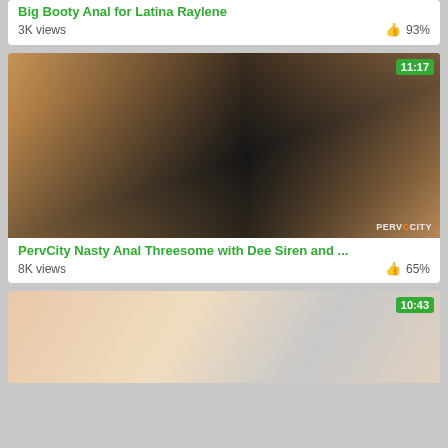Big Booty Anal for Latina Raylene
3K views   👍 93%
[Figure (photo): Video thumbnail for PervCity Nasty Anal Threesome with Dee Siren, duration badge 11:17]
PervCity Nasty Anal Threesome with Dee Siren and ...
8K views   👍 65%
[Figure (photo): Video thumbnail partial view, duration badge 10:43]